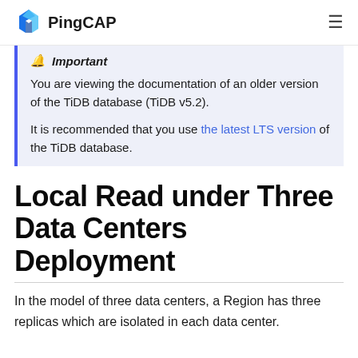PingCAP
🔔 Important
You are viewing the documentation of an older version of the TiDB database (TiDB v5.2).
It is recommended that you use the latest LTS version of the TiDB database.
Local Read under Three Data Centers Deployment
In the model of three data centers, a Region has three replicas which are isolated in each data center.